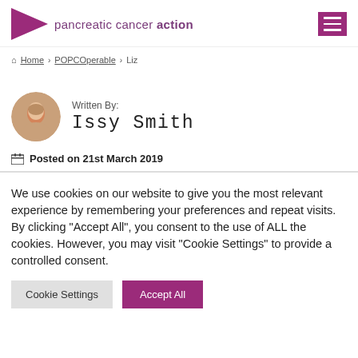pancreatic cancer action
Home > POPCOperable > Liz
[Figure (photo): Circular profile photo of author Issy Smith]
Written By: Issy Smith
Posted on 21st March 2019
We use cookies on our website to give you the most relevant experience by remembering your preferences and repeat visits. By clicking "Accept All", you consent to the use of ALL the cookies. However, you may visit "Cookie Settings" to provide a controlled consent.
Cookie Settings | Accept All